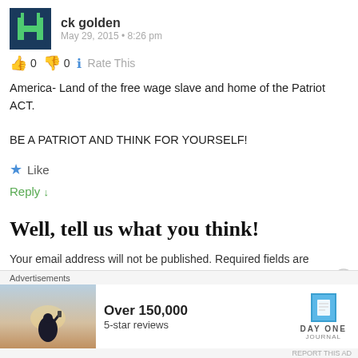ck golden — May 29, 2015 • 8:26 pm
👍 0 👎 0 ℹ Rate This
America- Land of the free wage slave and home of the Patriot ACT.

BE A PATRIOT AND THINK FOR YOURSELF!
★ Like
Reply ↓
Well, tell us what you think!
Your email address will not be published. Required fields are marked *
[Figure (infographic): Advertisement banner: Over 150,000 5-star reviews, Day One Journal app logo]